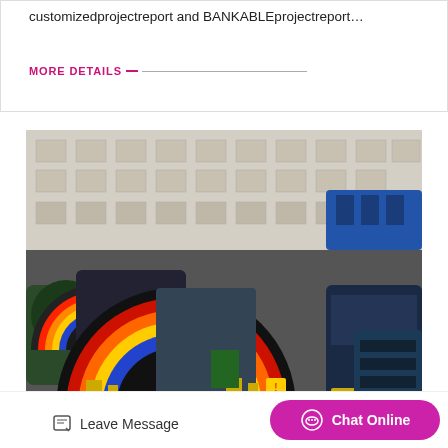customizedprojectreport and BANKABLEprojectreport…
MORE DETAILS
[Figure (photo): Industrial machinery facility showing large colorful ball mill or grinding machines with rainbow-painted arched covers (red, orange, yellow, blue) in a factory setting with a multi-story building in the background.]
Leave Message
Chat Online